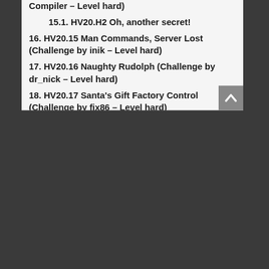Compiler – Level hard)
15.1. HV20.H2 Oh, another secret!
16. HV20.15 Man Commands, Server Lost (Challenge by inik – Level hard)
17. HV20.16 Naughty Rudolph (Challenge by dr_nick – Level hard)
18. HV20.17 Santa's Gift Factory Control (Challenge by fix86 – Level hard)
19. HV20.18 Santa's lost home (Challenge by darkstar – Level hard)
20. HV20.19 Docker Linter Service (Challenge by The Compile – Level hard)
21. HV20.20 Twelve steps of Christmas (Challenge by Bread – Level leet)
22. HV20.21 Threatened Cat (Challenge by inik – Level hard)
23. HV20.22 Padawanlock (Challenge by inik – Level hard)